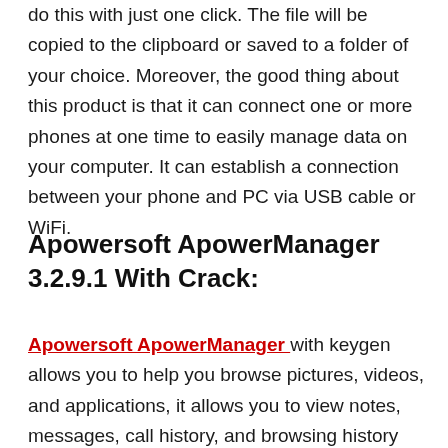do this with just one click. The file will be copied to the clipboard or saved to a folder of your choice. Moreover, the good thing about this product is that it can connect one or more phones at one time to easily manage data on your computer. It can establish a connection between your phone and PC via USB cable or WiFi.
Apowersoft ApowerManager 3.2.9.1 With Crack:
Apowersoft ApowerManager with keygen allows you to help you browse pictures, videos, and applications, it allows you to view notes, messages, call history, and browsing history and you can export the log to your computer using XLS or XML format. Overall, it is a useful